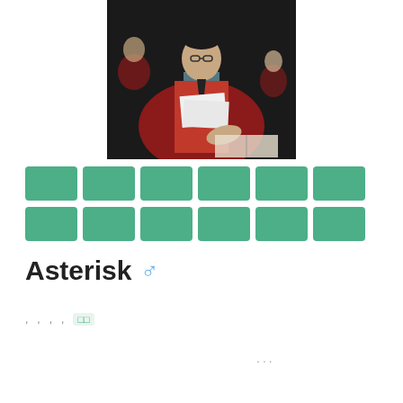[Figure (photo): A person in academic/graduation regalia (red gown with light blue trim) holding documents, surrounded by others similarly dressed.]
□□  □□  □□  □□  □□  □□  □□  □□  □□  □□  □□  □□
Asterisk ♂
, , , ,□□
...